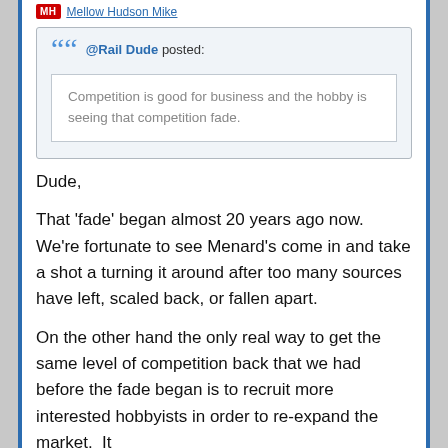MH Mellow Hudson Mike
@Rail Dude posted: Competition is good for business and the hobby is seeing that competition fade.
Dude,
That 'fade' began almost 20 years ago now.  We're fortunate to see Menard's come in and take a shot a turning it around after too many sources have left, scaled back, or fallen apart.
On the other hand the only real way to get the same level of competition back that we had before the fade began is to recruit more interested hobbyists in order to re-expand the market.  It